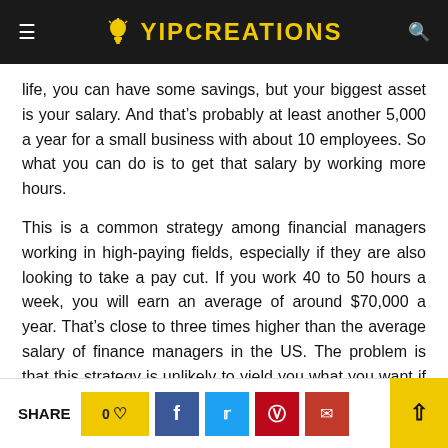YIPCREATIONS
life, you can have some savings, but your biggest asset is your salary. And that’s probably at least another 5,000 a year for a small business with about 10 employees. So what you can do is to get that salary by working more hours.
This is a common strategy among financial managers working in high-paying fields, especially if they are also looking to take a pay cut. If you work 40 to 50 hours a week, you will earn an average of around $70,000 a year. That’s close to three times higher than the average salary of finance managers in the US. The problem is that this strategy is unlikely to yield you what you want if you keep working more hours.
SHARE 0